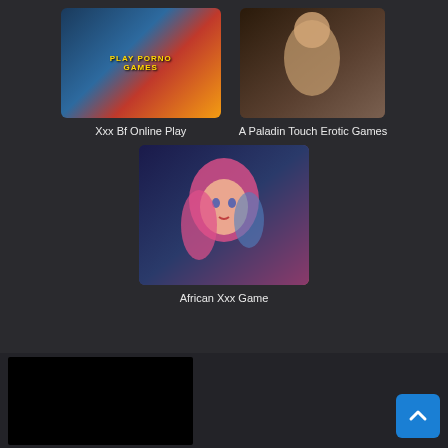[Figure (illustration): Thumbnail image for adult game 'Xxx Bf Online Play' showing animated characters]
Xxx Bf Online Play
[Figure (illustration): Thumbnail image for adult game 'A Paladin Touch Erotic Games' showing 3D rendered female character]
A Paladin Touch Erotic Games
[Figure (illustration): Thumbnail image for adult game 'African Xxx Game' showing anime-style female character with pink hair]
African Xxx Game
[Figure (screenshot): Black rectangle at bottom left, likely a video or ad placeholder]
[Figure (other): Blue back-to-top button with upward chevron arrow at bottom right]